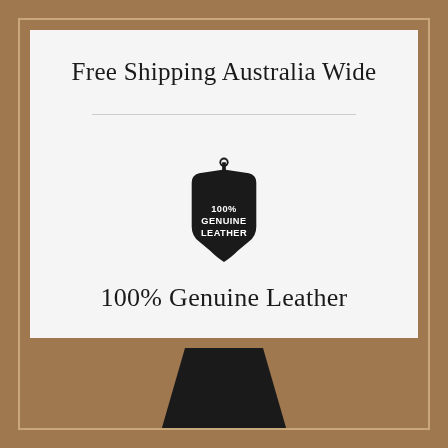Free Shipping Australia Wide
[Figure (logo): Black leather tag icon with text '100% GENUINE LEATHER' in white]
100% Genuine Leather